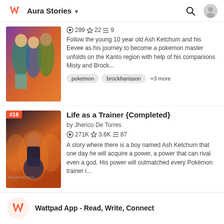Aura Stories
[Figure (screenshot): Story cover image for first story showing anime characters Misty, Ash, and Brock against a purple/orange background]
299 ★22 ≡9
Follow the young 10 year old Ash Ketchum and his Eevee as his journey to become a pokemon master unfolds on the Kanto region with help of his companions Misty and Brock...
pokemon   brockharisson   +3 more
[Figure (screenshot): Story cover image for 'Life as a Trainer' showing anime character with fire/energy motif on dark background, ranked #16]
Life as a Trainer {Completed}
by Jherico De Torres
271K ★3.6K ≡87
A story where there is a boy named Ash Ketchum that one day he will acquire a power, a power that can rival even a god. His power will outmatched every Pokèmon trainer i...
Wattpad App - Read, Write, Connect
Start Reading
Log in with Browser